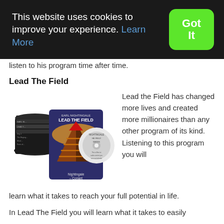[Figure (screenshot): Cookie consent banner with dark background, text 'This website uses cookies to improve your experience. Learn More' and a green 'Got It' button]
listen to his program time after time.
Lead The Field
[Figure (photo): Earl Nightingale Lead The Field audio program - showing multiple CDs, a case with pyramid artwork, and a workbook disc]
Lead the Field has changed more lives and created more millionaires than any other program of its kind. Listening to this program you will learn what it takes to reach your full potential in life.
In Lead The Field you will learn what it takes to easily